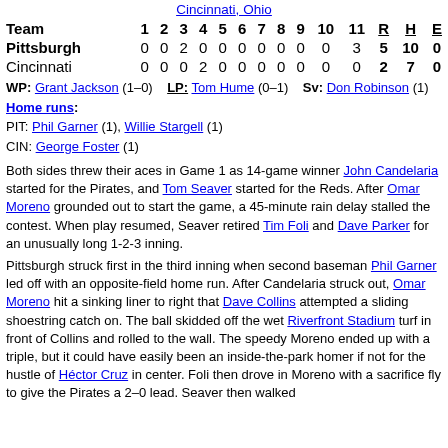Cincinnati, Ohio
| Team | 1 | 2 | 3 | 4 | 5 | 6 | 7 | 8 | 9 | 10 | 11 | R | H | E |
| --- | --- | --- | --- | --- | --- | --- | --- | --- | --- | --- | --- | --- | --- | --- |
| Pittsburgh | 0 | 0 | 2 | 0 | 0 | 0 | 0 | 0 | 0 | 0 | 3 | 5 | 10 | 0 |
| Cincinnati | 0 | 0 | 0 | 2 | 0 | 0 | 0 | 0 | 0 | 0 | 0 | 2 | 7 | 0 |
WP: Grant Jackson (1–0)   LP: Tom Hume (0–1)   Sv: Don Robinson (1)
Home runs:
PIT: Phil Garner (1), Willie Stargell (1)
CIN: George Foster (1)
Both sides threw their aces in Game 1 as 14-game winner John Candelaria started for the Pirates, and Tom Seaver started for the Reds. After Omar Moreno grounded out to start the game, a 45-minute rain delay stalled the contest. When play resumed, Seaver retired Tim Foli and Dave Parker for an unusually long 1-2-3 inning.
Pittsburgh struck first in the third inning when second baseman Phil Garner led off with an opposite-field home run. After Candelaria struck out, Omar Moreno hit a sinking liner to right that Dave Collins attempted a sliding shoestring catch on. The ball skidded off the wet Riverfront Stadium turf in front of Collins and rolled to the wall. The speedy Moreno ended up with a triple, but it could have easily been an inside-the-park homer if not for the hustle of Héctor Cruz in center. Foli then drove in Moreno with a sacrifice fly to give the Pirates a 2–0 lead. Seaver then walked